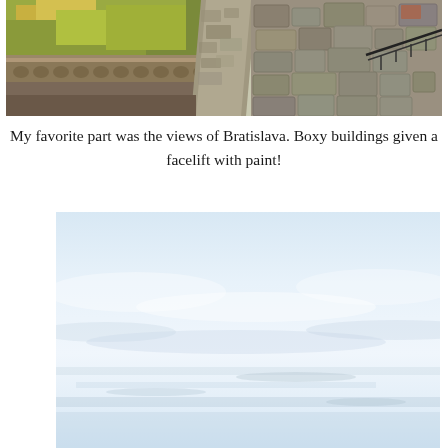[Figure (photo): Stone wall and castle ramparts with autumn trees and railing in the background, Bratislava castle area]
My favorite part was the views of Bratislava. Boxy buildings given a facelift with paint!
[Figure (photo): Light blue cloudy sky view over rooftops of Bratislava city]